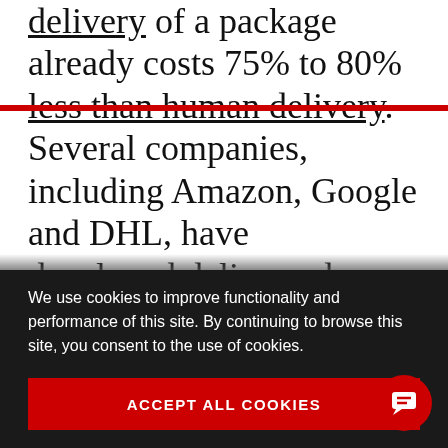delivery of a package already costs 75% to 80% less than human delivery. Several companies, including Amazon, Google and DHL, have developed delivery-drone prototypes, but regulatory approvals remain a barrier. NASA is working on an Internet-based system that will manage low-altitude unmanned aerial vehicles, including drones, and the FAA expects to begin full certification of drones in 2020. Globally
We use cookies to improve functionality and performance of this site. By continuing to browse this site, you consent to the use of cookies.
ACCEPT ALL COOKIES